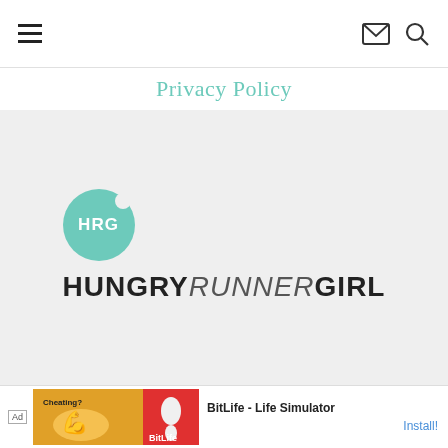hamburger menu, email icon, search icon
Privacy Policy
[Figure (logo): Hungry Runner Girl logo: teal circle with HRG text and brand name HUNGRYRUNNERGIRL below]
FAVORITES
RACE RECAPS
ABOUT ME
CONTACT ME
WORKOUTS & RECIPES
[Figure (other): Ad banner: BitLife - Life Simulator advertisement with Install button]